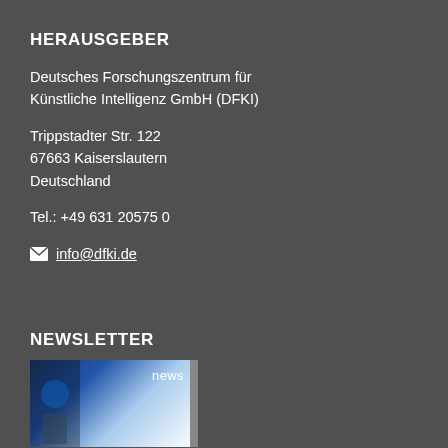HERAUSGEBER
Deutsches Forschungszentrum für Künstliche Intelligenz GmbH (DFKI)
Trippstadter Str. 122
67663 Kaiserslautern
Deutschland
Tel.: +49 631 20575 0
info@dfki.de
NEWSLETTER
[Figure (photo): Newsletter cover image showing a person and a screen, with 'news' label visible, DFKI branding]